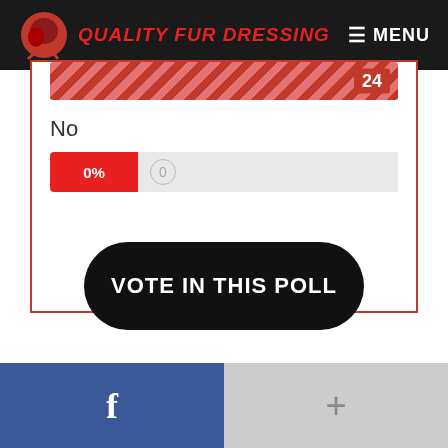Quality Fur Dressing — MENU
No
0%  0
VOTE IN THIS POLL
[Figure (other): Facebook share button (blue background with white 'f' icon)]
[Figure (other): Google Plus share button (grey background with white '+' icon)]